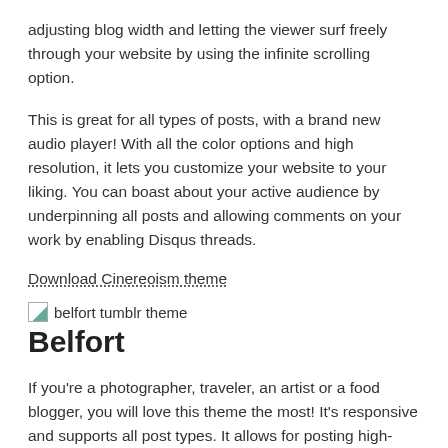adjusting blog width and letting the viewer surf freely through your website by using the infinite scrolling option.
This is great for all types of posts, with a brand new audio player! With all the color options and high resolution, it lets you customize your website to your liking. You can boast about your active audience by underpinning all posts and allowing comments on your work by enabling Disqus threads.
Download Cinereoism theme
[Figure (other): Broken image placeholder labeled 'belfort tumblr theme']
Belfort
If you're a photographer, traveler, an artist or a food blogger, you will love this theme the most! It's responsive and supports all post types. It allows for posting high-resolution content and works just fine on a phone, tablet or laptop viewscreen.
There are feisty scrolling animations and a range of fonts and colors to choose from so you can customize your layout effectively